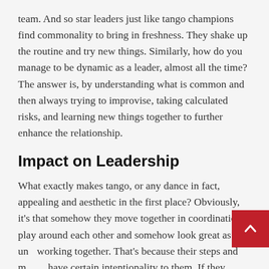team. And so star leaders just like tango champions find commonality to bring in freshness. They shake up the routine and try new things. Similarly, how do you manage to be dynamic as a leader, almost all the time? The answer is, by understanding what is common and then always trying to improvise, taking calculated risks, and learning new things together to further enhance the relationship.
Impact on Leadership
What exactly makes tango, or any dance in fact, appealing and aesthetic in the first place? Obviously, it's that somehow they move together in coordination, play around each other and somehow look great as a unit working together. That's because their steps and moves have certain intentionality to them. If they moved around each other, their inclinations created a...